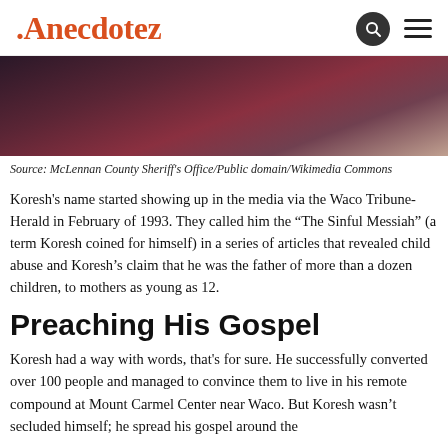Anecdotez
[Figure (photo): Close-up photo of a person's face, partially visible, with dark background and reddish/warm tones.]
Source: McLennan County Sheriff's Office/Public domain/Wikimedia Commons
Koresh's name started showing up in the media via the Waco Tribune-Herald in February of 1993. They called him the “The Sinful Messiah” (a term Koresh coined for himself) in a series of articles that revealed child abuse and Koresh’s claim that he was the father of more than a dozen children, to mothers as young as 12.
Preaching His Gospel
Koresh had a way with words, that's for sure. He successfully converted over 100 people and managed to convince them to live in his remote compound at Mount Carmel Center near Waco. But Koresh wasn’t secluded himself; he spread his gospel around the